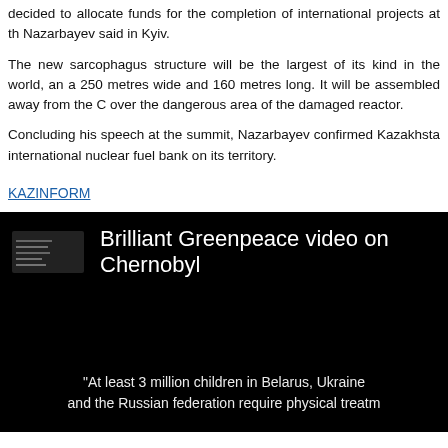decided to allocate funds for the completion of international projects at the Nazarbayev said in Kyiv.
The new sarcophagus structure will be the largest of its kind in the world, an a 250 metres wide and 160 metres long. It will be assembled away from the C over the dangerous area of the damaged reactor.
Concluding his speech at the summit, Nazarbayev confirmed Kazakhsta international nuclear fuel bank on its territory.
KAZINFORM
[Figure (screenshot): Black background video thumbnail showing 'Brilliant Greenpeace video on Chernobyl' title with a small video icon, and subtitle text: "At least 3 million children in Belarus, Ukraine and the Russian federation require physical treatment"]